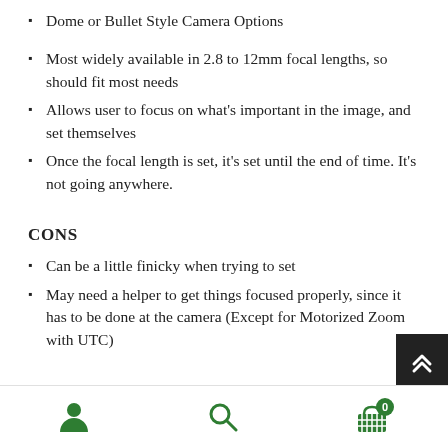Dome or Bullet Style Camera Options
Most widely available in 2.8 to 12mm focal lengths, so should fit most needs
Allows user to focus on what's important in the image, and set themselves
Once the focal length is set, it's set until the end of time. It's not going anywhere.
CONS
Can be a little finicky when trying to set
May need a helper to get things focused properly, since it has to be done at the camera (Except for Motorized Zoom with UTC)
APPLICATIONS
Parking Lots
User icon | Search icon | Cart (0)